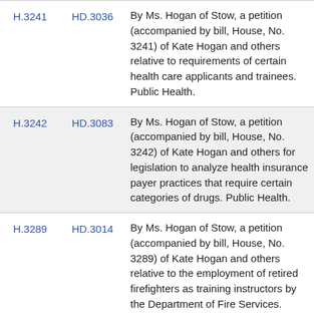| Bill | HD | Description |
| --- | --- | --- |
| H.3241 | HD.3036 | By Ms. Hogan of Stow, a petition (accompanied by bill, House, No. 3241) of Kate Hogan and others relative to requirements of certain health care applicants and trainees. Public Health. |
| H.3242 | HD.3083 | By Ms. Hogan of Stow, a petition (accompanied by bill, House, No. 3242) of Kate Hogan and others for legislation to analyze health insurance payer practices that require certain categories of drugs. Public Health. |
| H.3289 | HD.3014 | By Ms. Hogan of Stow, a petition (accompanied by bill, House, No. 3289) of Kate Hogan and others relative to the employment of retired firefighters as training instructors by the Department of Fire Services. Public Service. |